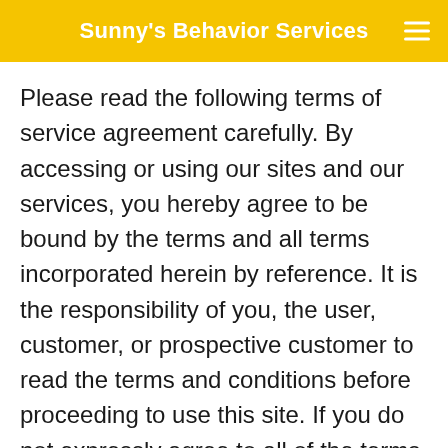Sunny's Behavior Services
Please read the following terms of service agreement carefully. By accessing or using our sites and our services, you hereby agree to be bound by the terms and all terms incorporated herein by reference. It is the responsibility of you, the user, customer, or prospective customer to read the terms and conditions before proceeding to use this site. If you do not expressly agree to all of the terms and conditions, then please do not access or use our sites or our services. This terms of service agreement is effective as of 08/12/2019